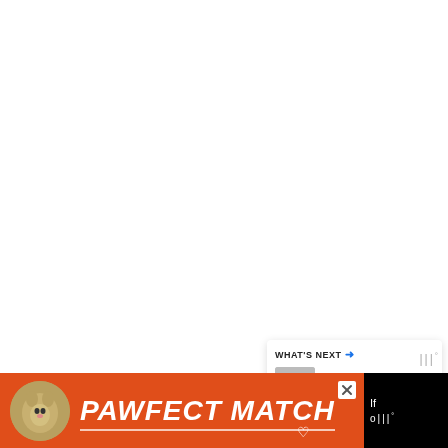[Figure (screenshot): Scroll-to-top button, a gray square button with an upward chevron arrow]
[Figure (screenshot): Social share widget showing count '0' and a share icon with plus symbol]
[Figure (screenshot): What's Next panel with header 'WHAT'S NEXT →', thumbnail of couple, and text 'How to Respond to...']
|||°
[Figure (screenshot): Orange advertisement banner for 'PAWFECT MATCH' with cat image and close button]
If o|||°